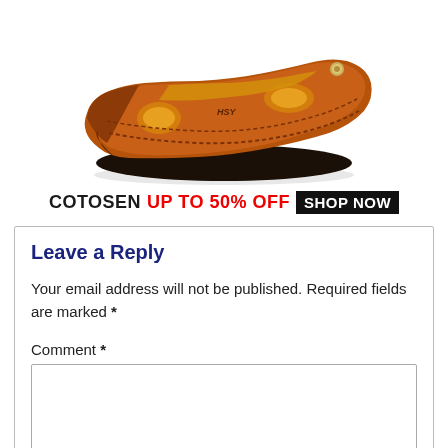[Figure (photo): Brown leather closed-toe sandal/shoe with hand-stitching, cutouts on the sides, and a black sole. The text 'HSY' is visible on the shoe.]
COTOSEN UP TO 50% OFF SHOP NOW
Leave a Reply
Your email address will not be published. Required fields are marked *
Comment *